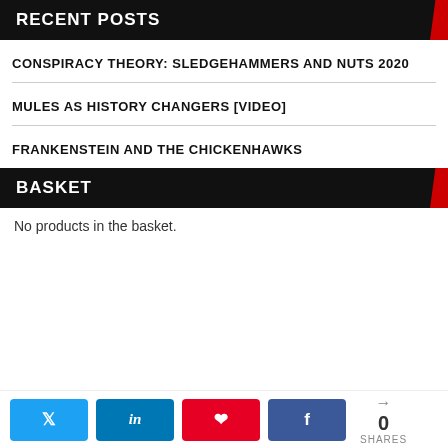RECENT POSTS
CONSPIRACY THEORY: SLEDGEHAMMERS AND NUTS 2020
MULES AS HISTORY CHANGERS [VIDEO]
FRANKENSTEIN AND THE CHICKENHAWKS
BASKET
No products in the basket.
0 SHARES